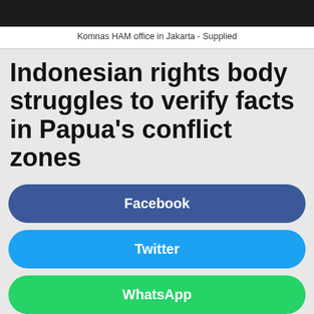[Figure (photo): Top portion of a photo showing the Komnas HAM office in Jakarta, with a dark/black image strip visible at the top.]
Komnas HAM office in Jakarta - Supplied
Indonesian rights body struggles to verify facts in Papua's conflict zones
Facebook
Twitter
WhatsApp
Email